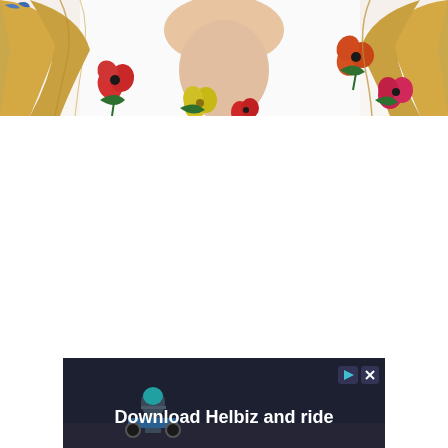[Figure (photo): Close-up photo of a person with blonde hair wearing a white garment with colorful floral print (red, pink, yellow flowers with green stems and leaves). Top portion of the page.]
[Figure (photo): Advertisement banner at the bottom of the page. Dark background with a person on what appears to be an electric scooter. Text reads 'Download Helbiz and ride' in white bold font. Small play and close icons in top right corner.]